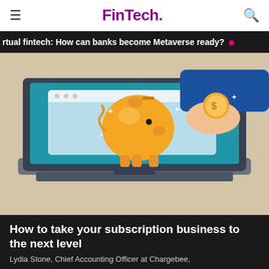FinTech.
rtual fintech: How can banks become Metaverse ready?
[Figure (illustration): Illustration of a hand inserting a gold coin into a golden piggy bank displayed on a laptop screen. The laptop is on a beige/tan background. The laptop screen shows a browser-style window with a blue background containing the golden piggy bank. A hand wearing a blue suit sleeve reaches in from the upper right to deposit a coin.]
How to take your subscription business to the next level
Lydia Stone, Chief Accounting Officer at Chargebee,